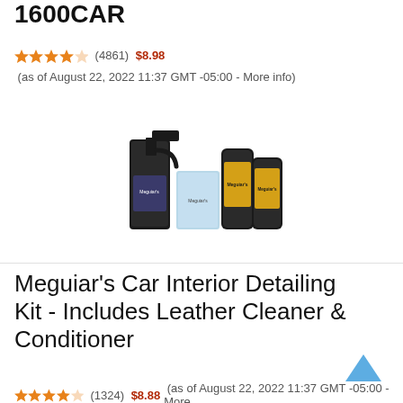Meguiar's Car Interior Detailing Kit - Includes Leather Cleaner & Conditioner
★★★★☆ (4861) $8.98 (as of August 22, 2022 11:37 GMT -05:00 - More info)
[Figure (photo): Product image of Meguiar's Car Interior Detailing Kit showing a spray bottle, cleaning pads, and two cylindrical containers]
Meguiar's Car Interior Detailing Kit - Includes Leather Cleaner & Conditioner
★★★★☆ (1324) $8.88 (as of August 22, 2022 11:37 GMT -05:00 - More